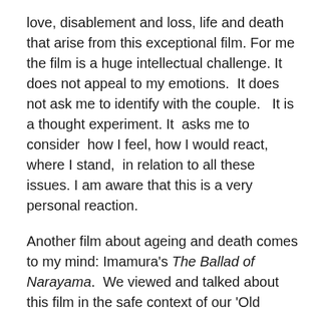love, disablement and loss, life and death that arise from this exceptional film. For me the film is a huge intellectual challenge. It does not appeal to my emotions.  It does not ask me to identify with the couple.   It is a thought experiment. It  asks me to consider  how I feel, how I would react,  where I stand,  in relation to all these issues. I am aware that this is a very personal reaction.
Another film about ageing and death comes to my mind: Imamura's The Ballad of Narayama.  We viewed and talked about this film in the safe context of our 'Old Women in Film' group. The discussion was very personal and revealed to us some aspects of our view of life that are never talked about openly.
Haneke's film is a hard one to watch but is a masterpiece. It  is a consciousness raising film, consciousness  raising